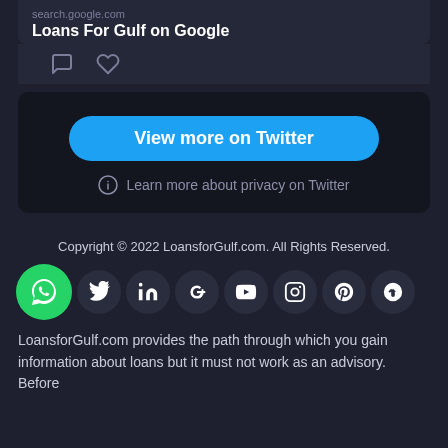[Figure (screenshot): Tweet card showing search.google.com link with title 'Loans For Gulf on Google' with reply and like icons below]
[Figure (screenshot): Twitter embed dark panel with blue 'View more on Twitter' button and 'Learn more about privacy on Twitter' link]
Copyright © 2022 LoansforGulf.com. All Rights Reserved.
[Figure (infographic): Row of social media icons: WhatsApp (green), Twitter, LinkedIn, Google+, YouTube, Instagram, Pinterest, StumbleUpon]
LoansforGulf.com provides the path through which you gain information about loans but it must not work as an advisory. Before